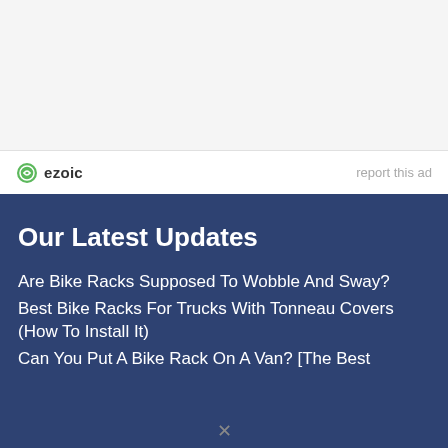[Figure (logo): Ezoic logo with green circular icon and bold dark text 'ezoic', alongside 'report this ad' text in light gray]
Our Latest Updates
Are Bike Racks Supposed To Wobble And Sway?
Best Bike Racks For Trucks With Tonneau Covers (How To Install It)
Can You Put A Bike Rack On A Van? [The Best